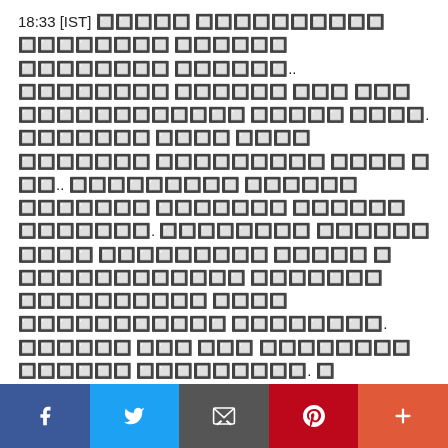18:33 [IST] 🔲🔲🔲🔲🔲 🔲🔲🔲🔲🔲🔲🔲🔲🔲🔲 🔲🔲🔲🔲🔲🔲🔲🔲 🔲🔲🔲🔲🔲🔲 🔲🔲🔲🔲🔲🔲🔲🔲 🔲🔲🔲🔲🔲🔲.. 🔲🔲🔲🔲🔲🔲🔲🔲 🔲🔲🔲🔲🔲🔲 🔲🔲🔲 🔲🔲🔲 🔲🔲🔲🔲🔲🔲🔲🔲🔲🔲🔲🔲 🔲🔲🔲🔲🔲 🔲🔲🔲🔲. 🔲🔲🔲🔲🔲🔲🔲 🔲🔲🔲🔲 🔲🔲🔲🔲 🔲🔲🔲🔲🔲🔲🔲 🔲🔲🔲🔲🔲🔲🔲🔲🔲 🔲🔲🔲🔲 🔲 🔲🔲.. 🔲🔲🔲🔲🔲🔲🔲🔲🔲 🔲🔲🔲🔲🔲🔲 🔲🔲🔲🔲🔲🔲🔲 🔲🔲🔲🔲🔲🔲🔲 🔲🔲🔲🔲🔲🔲 🔲🔲🔲🔲🔲🔲🔲. 🔲🔲🔲🔲🔲🔲🔲🔲 🔲🔲🔲🔲🔲🔲 🔲🔲🔲🔲 🔲🔲🔲🔲🔲🔲🔲🔲🔲 🔲🔲🔲🔲🔲 🔲 🔲🔲🔲🔲🔲🔲🔲🔲🔲🔲🔲🔲 🔲🔲🔲🔲🔲🔲🔲 🔲🔲🔲🔲🔲🔲🔲🔲🔲🔲 🔲🔲🔲🔲 🔲🔲🔲🔲🔲🔲🔲🔲🔲🔲🔲 🔲🔲🔲🔲🔲🔲🔲🔲. 🔲🔲🔲🔲🔲🔲 🔲🔲🔲 🔲🔲🔲 🔲🔲🔲🔲🔲🔲🔲🔲 🔲🔲🔲🔲🔲🔲 🔲🔲🔲🔲🔲🔲🔲🔲🔲. 🔲 🔲🔲🔲🔲🔲🔲🔲🔲 🔲🔲🔲🔲🔲🔲🔲 🔲🔲🔲🔲🔲 🔲🔲🔲🔲 🔲🔲🔲🔲🔲🔲🔲 🔲🔲🔲🔲🔲🔲🔲🔲🔲🔲🔲. 🔲🔲, 🔲🔲🔲🔲🔲🔲🔲 🔲🔲🔲🔲🔲🔲🔲 🔲🔲🔲🔲🔲🔲🔲🔲🔲🔲🔲🔲
Share bar: Facebook, Twitter, Email, Pinterest, More